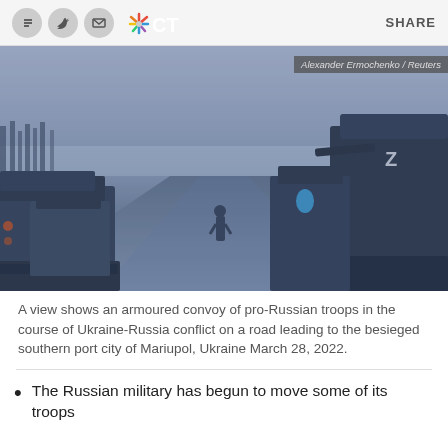Social share bar with Facebook, Twitter, email icons, NBC CT logo, and SHARE label
[Figure (photo): A view of an armoured convoy of pro-Russian troops with tanks marked with 'Z' on a road leading to Mariupol, Ukraine. Winter scene with bare trees in background. Credit: Alexander Ermochenko / Reuters]
A view shows an armoured convoy of pro-Russian troops in the course of Ukraine-Russia conflict on a road leading to the besieged southern port city of Mariupol, Ukraine March 28, 2022.
The Russian military has begun to move some of its troops